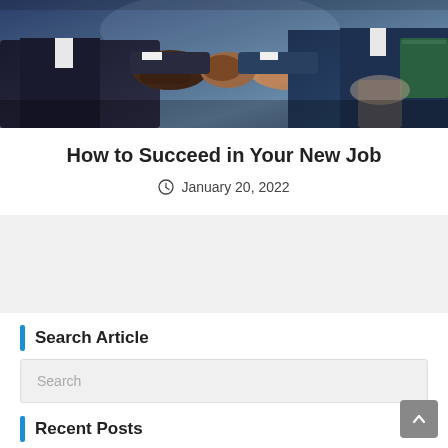[Figure (photo): Business professionals shaking hands in a meeting setting, viewed close-up from above at an angle]
How to Succeed in Your New Job
January 20, 2022
[Figure (other): Advertisement or banner placeholder block (gray area)]
Search Article
Search
Recent Posts